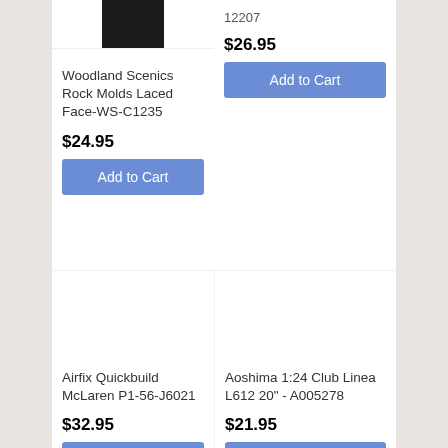[Figure (photo): Partial product image (dark/black square thumbnail, cropped at top) for an unshown product]
12207
$26.95
Add to Cart
Woodland Scenics Rock Molds Laced Face-WS-C1235
$24.95
Add to Cart
Airfix Quickbuild McLaren P1-56-J6021
$32.95
Add to Cart
Aoshima 1:24 Club Linea L612 20" - A005278
$21.95
Add to Cart